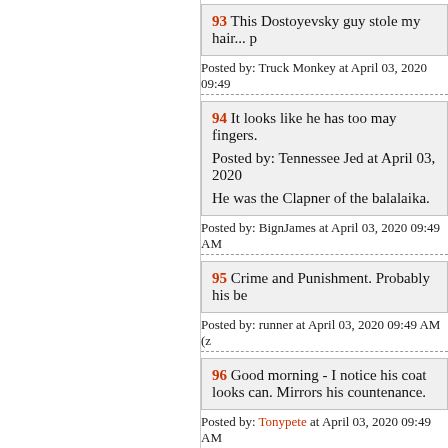93 This Dostoyevsky guy stole my hair...
Posted by: Truck Monkey at April 03, 2020 09:49
94 It looks like he has too may fingers.

Posted by: Tennessee Jed at April 03, 2020

He was the Clapner of the balalaika.
Posted by: BignJames at April 03, 2020 09:49 AM
95 Crime and Punishment. Probably his be
Posted by: runner at April 03, 2020 09:49 AM (z
96 Good morning - I notice his coat looks can. Mirrors his countenance.
Posted by: Tonypete at April 03, 2020 09:49 AM
97 six fingers